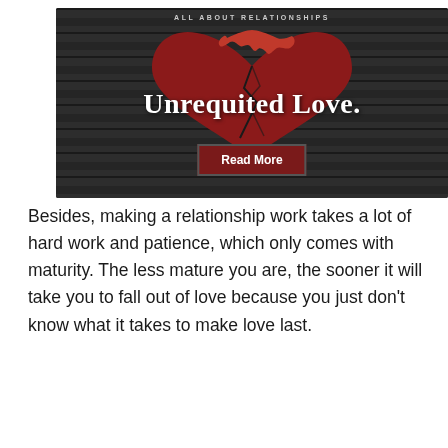[Figure (illustration): A broken red heart on a dark wood background with text 'ALL ABOUT RELATIONSHIPS' at top, title 'Unrequited Love.' in white serif font, and a red 'Read More' button below.]
Besides, making a relationship work takes a lot of hard work and patience, which only comes with maturity. The less mature you are, the sooner it will take you to fall out of love because you just don't know what it takes to make love last.